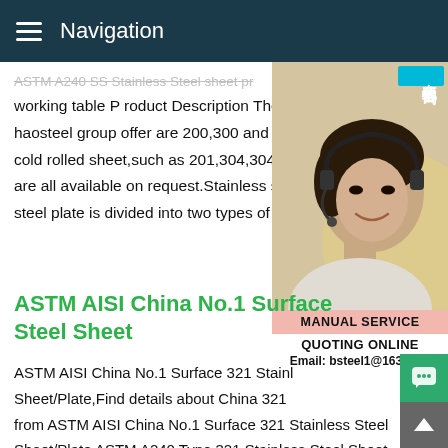Navigation
working table P roduct Description The mc haosteel group offer are 200,300 and 400 cold rolled sheet,such as 201,304,304L,32 are all available on request.Stainless steel steel plate is divided into two types of hot r
[Figure (photo): Customer service representative wearing headset, smiling. Cyan box with Chinese text '在线咨询' (Online Consultation). Pink bar with 'MANUAL SERVICE'. White bar with 'QUOTING ONLINE' and 'Email: bsteel1@163.com'.]
ASTM AISI China No.1 Surface Steel Sheet
ASTM AISI China No.1 Surface 321 Stainl Sheet/Plate,Find details about China 321 from ASTM AISI China No.1 Surface 321 Stainless Steel Sheet/Plate ASTM A240 Type 321 Stainless Steel Sheet Suppliers,Ss Cold rolled finishes are used on Ss 321h Plate products such as Stainless Steel 321 sheet,plate or coil,with thickness less than about 5mm and usually less than 3mm.The smoother the surface finish of 321 Stainless Steel sheet perfo